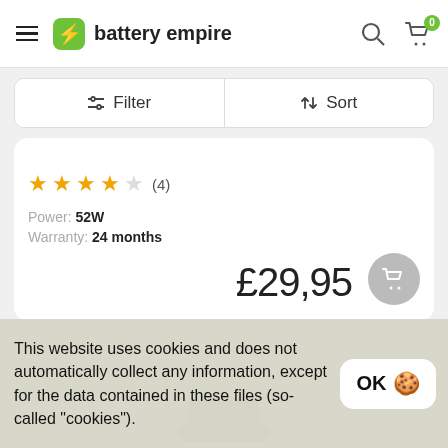battery empire
Filter | Sort
★★★★☆ (4)
Power: 52W
Warranty: 24 months
£29,95
This website uses cookies and does not automatically collect any information, except for the data contained in these files (so-called "cookies").